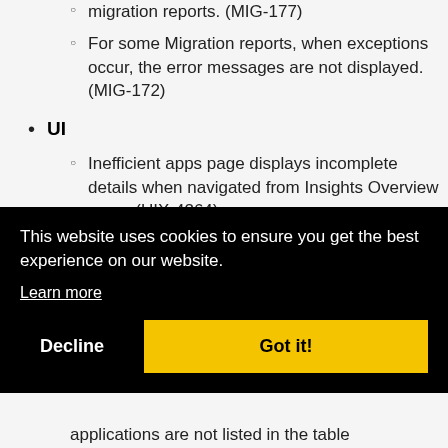migration reports. (MIG-177)
For some Migration reports, when exceptions occur, the error messages are not displayed. (MIG-172)
UI
Inefficient apps page displays incomplete details when navigated from Insights Overview page. (UIX-4264)
Custom Table Sorting for non-numeric
This website uses cookies to ensure you get the best experience on our website.
Learn more
Decline
Got it!
applications are not listed in the table